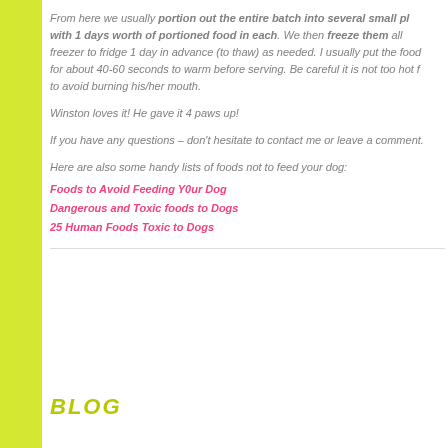From here we usually portion out the entire batch into several small pl with 1 days worth of portioned food in each. We then freeze them all  freezer to fridge 1 day in advance (to thaw) as needed. I usually put the food for about 40-60 seconds to warm before serving. Be careful it is not too hot t to avoid burning his/her mouth.
Winston loves it! He gave it 4 paws up!
If you have any questions – don't hesitate to contact me or leave a comment.
Here are also some handy lists of foods not to feed your dog:
Foods to Avoid Feeding Y0ur Dog
Dangerous and Toxic foods to Dogs
25 Human Foods Toxic to Dogs
BLOG